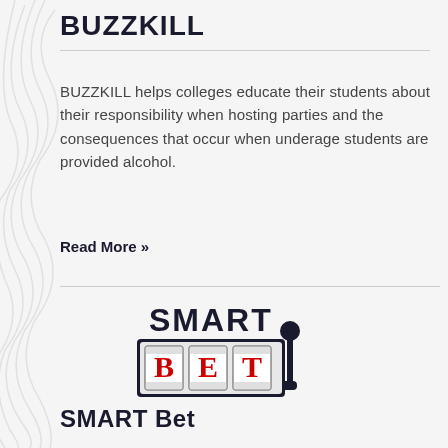BUZZKILL
BUZZKILL helps colleges educate their students about their responsibility when hosting parties and the consequences that occur when underage students are provided alcohol.
Read More »
[Figure (logo): SMART Bet logo — slot machine style with 'SMART' text above and 'BET' in slot machine reels below, with a lever on the right side]
SMART Bet